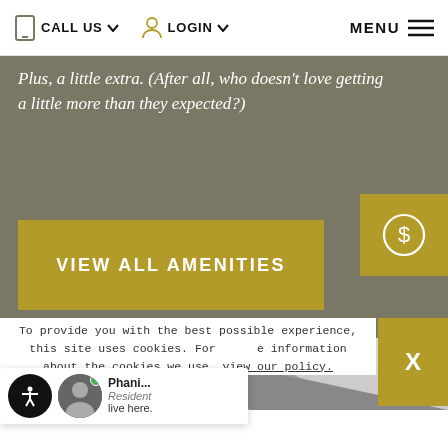CALL US  LOGIN  MENU
Plus, a little extra. (After all, who doesn't love getting a little more than they expected?)
[Figure (other): Gold dollar sign icon in a gold square box]
VIEW ALL AMENITIES
[Figure (photo): Black and white architectural photo strip]
To provide you with the best possible experience, this site uses cookies. For more information about the cookies we use, view our policy.
[Figure (other): Chat widget with avatar of Phani... Resident saying 'live here.']
[Figure (other): X close button for cookie notice in gold box]
[Figure (other): Accessibility icon button (person with arms out)]